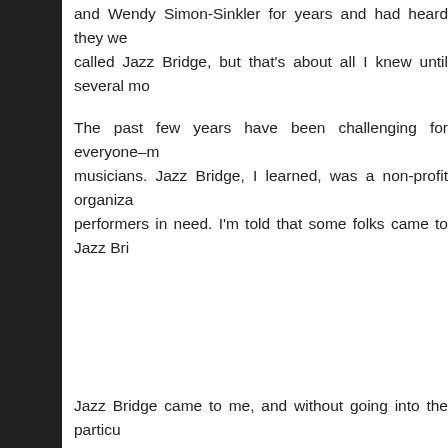and Wendy Simon-Sinkler for years and had heard they we called Jazz Bridge, but that's about all I knew until several mo
The past few years have been challenging for everyone–m musicians. Jazz Bridge, I learned, was a non-profit organiza performers in need. I'm told that some folks came to Jazz Bri
Jazz Bridge came to me, and without going into the particu